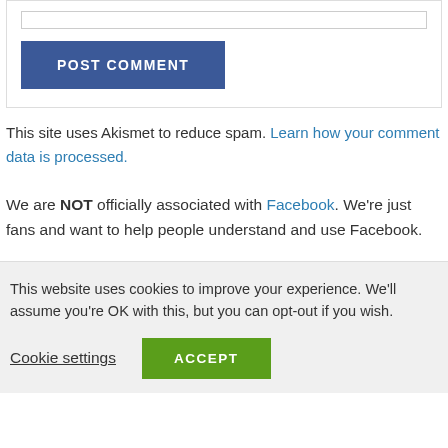[Figure (other): POST COMMENT button — a blue rectangular button with white bold uppercase text reading POST COMMENT]
This site uses Akismet to reduce spam. Learn how your comment data is processed.
We are NOT officially associated with Facebook. We're just fans and want to help people understand and use Facebook.
This website uses cookies to improve your experience. We'll assume you're OK with this, but you can opt-out if you wish.
Cookie settings   ACCEPT